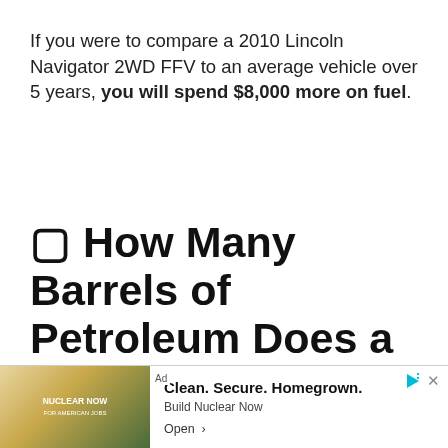If you were to compare a 2010 Lincoln Navigator 2WD FFV to an average vehicle over 5 years, you will spend $8,000 more on fuel.
⬛ How Many Barrels of Petroleum Does a 2010 Lincoln Navigator 2WD FFV Co...